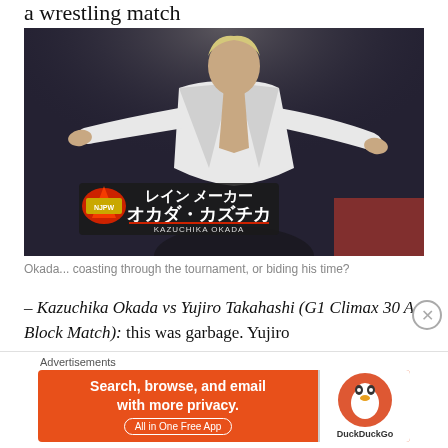a wrestling match
[Figure (photo): Kazuchika Okada in a white ring jacket with arms outstretched, with NJPW graphic overlay showing his name in Japanese (オカダ・カズチカ) and KAZUCHIKA OKADA]
Okada... coasting through the tournament, or biding his time?
– Kazuchika Okada vs Yujiro Takahashi (G1 Climax 30 A Block Match): this was garbage. Yujiro
Advertisements
[Figure (infographic): DuckDuckGo advertisement banner: Search, browse, and email with more privacy. All in One Free App. Orange background with DuckDuckGo duck logo.]